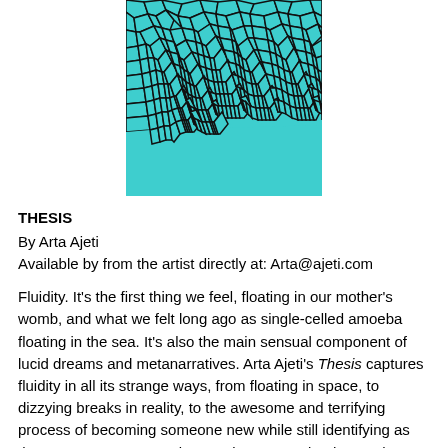[Figure (illustration): Abstract teal/turquoise mosaic or cracked pattern illustration with black outlines, arranged in a swirling eye-like composition.]
THESIS
By Arta Ajeti
Available by from the artist directly at: Arta@ajeti.com
Fluidity. It's the first thing we feel, floating in our mother's womb, and what we felt long ago as single-celled amoeba floating in the sea. It's also the main sensual component of lucid dreams and metanarratives. Arta Ajeti's Thesis captures fluidity in all its strange ways, from floating in space, to dizzying breaks in reality, to the awesome and terrifying process of becoming someone new while still identifying as the same person. "How have I always remained me?" the narrator of Thesis asks, "Why am I still